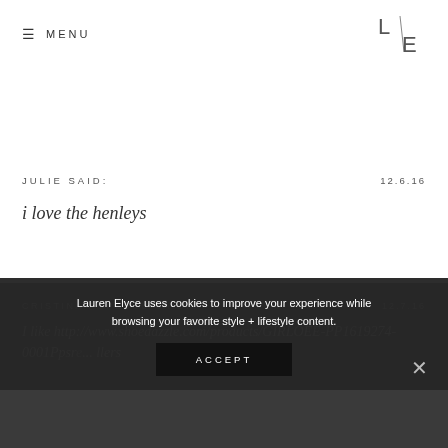≡ MENU | L/E logo
JULIE SAID:	12.6.16
i love the henleys
CRISTINA POPESCU SAID:	12.7.16
I like http://www.shoedazzle.com/products/GIRLOEE-PP1619274-0001Ppsr... llers
Lauren Elyce uses cookies to improve your experience while browsing your favorite style + lifestyle content.
ACCEPT